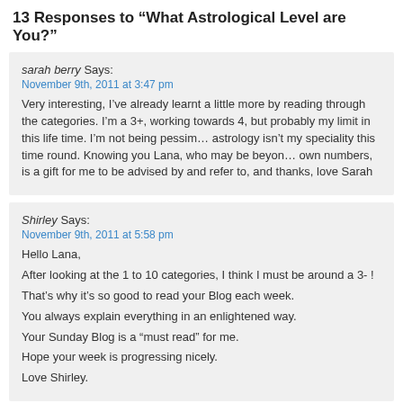13 Responses to “What Astrological Level are You?”
sarah berry Says:
November 9th, 2011 at 3:47 pm
Very interesting, I’ve already learnt a little more by reading through the categories. I’m a 3+, working towards 4, but probably my limit in this life time. I’m not being pessimistic, astrology isn’t my speciality this time round. Knowing you Lana, who may be beyond your own numbers, is a gift for me to be advised by and refer to, and thanks, love Sarah
Shirley Says:
November 9th, 2011 at 5:58 pm
Hello Lana,
After looking at the 1 to 10 categories, I think I must be around a 3- !
That’s why it’s so good to read your Blog each week.
You always explain everything in an enlightened way.
Your Sunday Blog is a “must read” for me.
Hope your week is progressing nicely.
Love Shirley.
Lana Says: